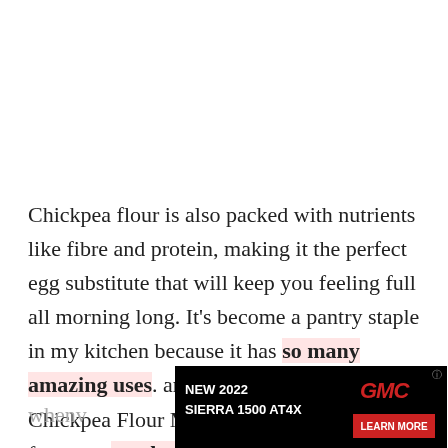Chickpea flour is also packed with nutrients like fibre and protein, making it the perfect egg substitute that will keep you feeling full all morning long. It's become a pantry staple in my kitchen because it has so many amazing uses. and Feel free to prep these Chickpea Flour Mini Quiche ahead of time for some meal prep, or even freeze a batch to have on hand for
whenv
[Figure (other): GMC advertisement banner for New 2022 Sierra 1500 AT4X with red truck image and Learn More button]